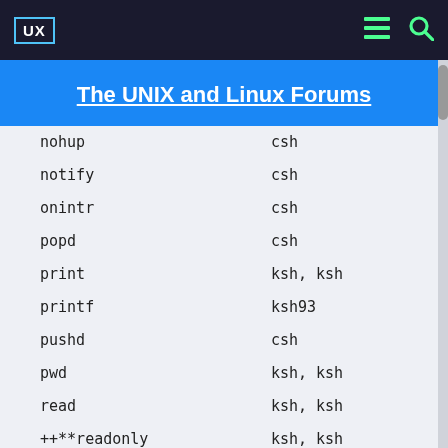UX  [menu icon] [search icon]
The UNIX and Linux Forums
| command | shell |
| --- | --- |
| nohup | csh |
| notify | csh |
| onintr | csh |
| popd | csh |
| print | ksh, ksh... |
| printf | ksh93 |
| pushd | csh |
| pwd | ksh, ksh... |
| read | ksh, ksh... |
| ++**readonly | ksh, ksh... |
| rehash | csh |
| repeat | csh |
| +*return | ksh, ksh... |
| select | ksh, ksh... |